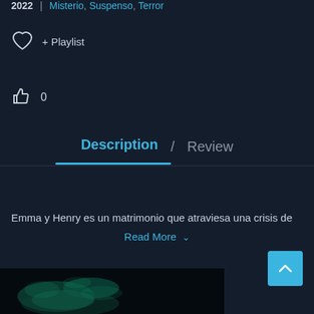2022  |  Misterio, Suspenso, Terror
♡  + Playlist
👍  0
Description  /  Review
Emma y Henry es un matrimonio que atraviesa una crisis de
Read More  ˅
[Figure (photo): Dark thumbnail image with abstract green-teal glowing shapes on black background]